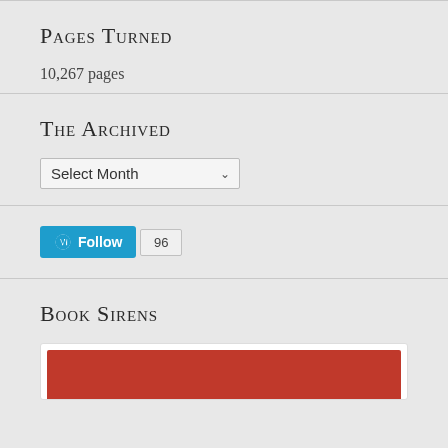Pages Turned
10,267 pages
The Archived
Select Month
[Figure (other): WordPress Follow button with follower count of 96]
Book Sirens
[Figure (other): Book Sirens widget with red background banner]